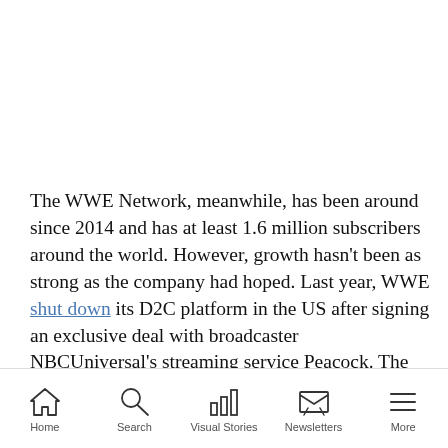The WWE Network, meanwhile, has been around since 2014 and has at least 1.6 million subscribers around the world. However, growth hasn't been as strong as the company had hoped. Last year, WWE shut down its D2C platform in the US after signing an exclusive deal with broadcaster NBCUniversal's streaming service Peacock. The five-year deal is worth more than US$1 billion, according to The Wall Street Journal.
Home  Search  Visual Stories  Newsletters  More